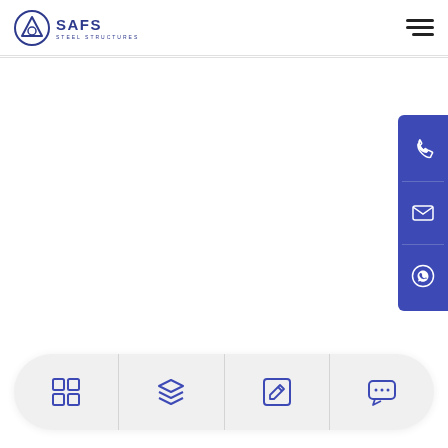[Figure (logo): SAFS Steel Structures logo with triangle/circle emblem in blue, company name in dark blue]
[Figure (infographic): Hamburger menu icon (three horizontal lines) in top right corner]
[Figure (infographic): Right-side contact panel in dark blue/purple with phone icon, email/envelope icon, and WhatsApp icon]
[Figure (infographic): Bottom navigation bar with four icons: grid/apps icon, layers icon, edit/pencil icon, chat/comment icon — all in blue outline style on light gray rounded bar]